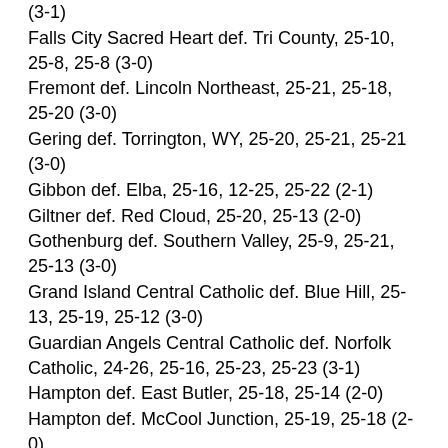(3-1)
Falls City Sacred Heart def. Tri County, 25-10, 25-8, 25-8 (3-0)
Fremont def. Lincoln Northeast, 25-21, 25-18, 25-20 (3-0)
Gering def. Torrington, WY, 25-20, 25-21, 25-21 (3-0)
Gibbon def. Elba, 25-16, 12-25, 25-22 (2-1)
Giltner def. Red Cloud, 25-20, 25-13 (2-0)
Gothenburg def. Southern Valley, 25-9, 25-21, 25-13 (3-0)
Grand Island Central Catholic def. Blue Hill, 25-13, 25-19, 25-12 (3-0)
Guardian Angels Central Catholic def. Norfolk Catholic, 24-26, 25-16, 25-23, 25-23 (3-1)
Hampton def. East Butler, 25-18, 25-14 (2-0)
Hampton def. McCool Junction, 25-19, 25-18 (2-0)
Heartland Lutheran def. Harvard, 25-10, 25-17 (2-0)
Hi-Line def. Medicine Valley, 25-13, 23-25, 25-11, 25-22 (3-1)
Homer def. Walthill, 25-19, 25-22, 25-19 (3-0)
Laurel-Concord-Coleridge def. Ponca, 25-23, 25-21, 25-19 (3-0)
Lexington def. Cozad, 25-13, 25-6, 25-8 (3-0)